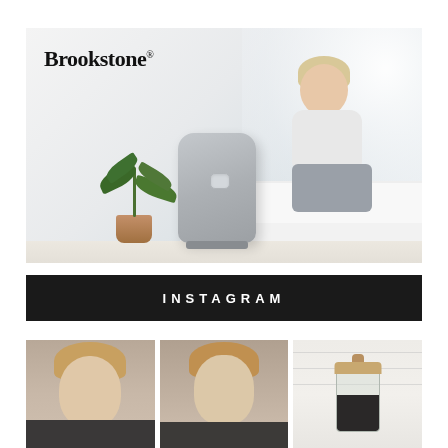[Figure (photo): Brookstone branded lifestyle photo showing a woman relaxing on a white sofa with a grey leg massager device on the floor. A large leafy plant in a woven basket pot is beside the device. The setting is a bright, minimal living room.]
[Figure (photo): Instagram section header bar in black with white uppercase text reading INSTAGRAM]
[Figure (photo): Three Instagram photo thumbnails in a row: two showing a blonde woman's face/selfie, and one showing a glass jar with a wooden lid against a white brick background.]